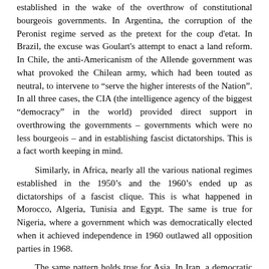established in the wake of the overthrow of constitutional bourgeois governments. In Argentina, the corruption of the Peronist regime served as the pretext for the coup d'etat. In Brazil, the excuse was Goulart's attempt to enact a land reform. In Chile, the anti-Americanism of the Allende government was what provoked the Chilean army, which had been touted as neutral, to intervene to "serve the higher interests of the Nation". In all three cases, the CIA (the intelligence agency of the biggest "democracy" in the world) provided direct support in overthrowing the governments – governments which were no less bourgeois – and in establishing fascist dictatorships. This is a fact worth keeping in mind.
Similarly, in Africa, nearly all the various national regimes established in the 1950's and the 1960's ended up as dictatorships of a fascist clique. This is what happened in Morocco, Algeria, Tunisia and Egypt. The same is true for Nigeria, where a government which was democratically elected when it achieved independence in 1960 outlawed all opposition parties in 1968.
The same pattern holds true for Asia. In Iran, a democratic government which even included the Communist Party was elected right after the victory over Hitler. The communists were soon ousted, but Mossadegh continued in power and dared to put forward an even more far-reaching line. The close cooperation